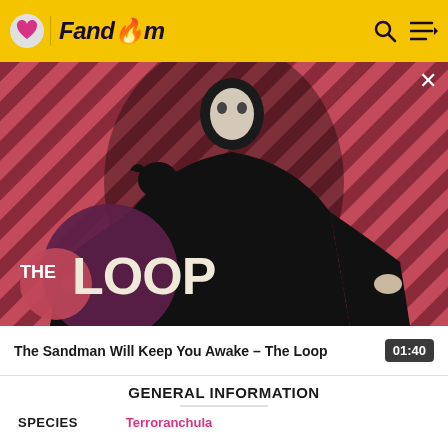Fandom
[Figure (screenshot): Video thumbnail for 'The Sandman Will Keep You Awake – The Loop'. Shows a dark-clad figure (Sandman) against a red and dark diagonal striped background, with 'THE LOOP' text overlay in the lower left. A crow/raven is perched on the figure's shoulder.]
The Sandman Will Keep You Awake – The Loop  01:40
GENERAL INFORMATION
SPECIES  Terroranchula